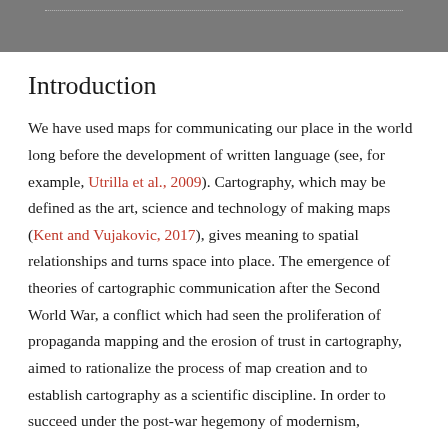[Figure (other): Gray header bar with dotted line near top]
Introduction
We have used maps for communicating our place in the world long before the development of written language (see, for example, Utrilla et al., 2009). Cartography, which may be defined as the art, science and technology of making maps (Kent and Vujakovic, 2017), gives meaning to spatial relationships and turns space into place. The emergence of theories of cartographic communication after the Second World War, a conflict which had seen the proliferation of propaganda mapping and the erosion of trust in cartography, aimed to rationalize the process of map creation and to establish cartography as a scientific discipline. In order to succeed under the post-war hegemony of modernism,